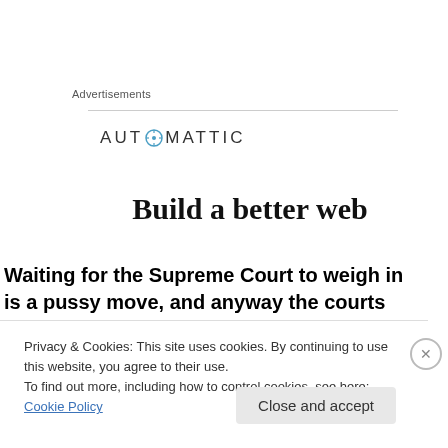Advertisements
[Figure (logo): Automattic logo with compass icon and uppercase letters]
Build a better web
Waiting for the Supreme Court to weigh in is a pussy move, and anyway the courts are corrupt from the top
Privacy & Cookies: This site uses cookies. By continuing to use this website, you agree to their use.
To find out more, including how to control cookies, see here: Cookie Policy
Close and accept